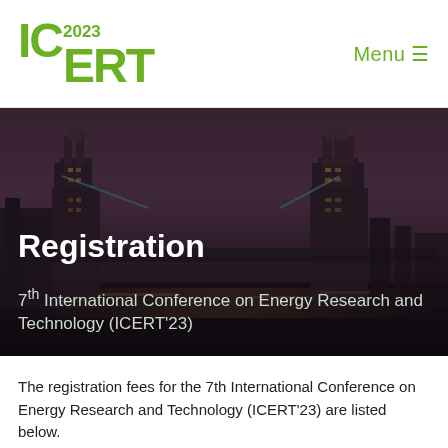IC 2023 ERT — Menu ≡
[Figure (photo): Nighttime photo of Tower Bridge in London with dark moody sky, overlaid with white text 'Registration' and subtitle '7th International Conference on Energy Research and Technology (ICERT'23)']
Registration
7th International Conference on Energy Research and Technology (ICERT'23)
The registration fees for the 7th International Conference on Energy Research and Technology (ICERT'23) are listed below.